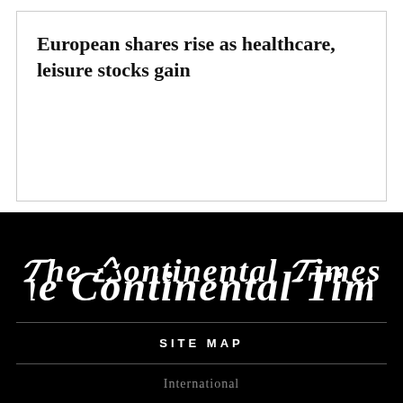European shares rise as healthcare, leisure stocks gain
[Figure (logo): The Continental Times newspaper logo in blackletter/gothic font, white text on black background]
SITE MAP
International